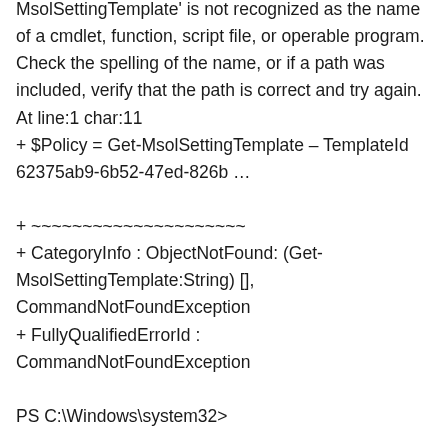MsolSettingTemplate' is not recognized as the name of a cmdlet, function, script file, or operable program. Check the spelling of the name, or if a path was included, verify that the path is correct and try again.
At line:1 char:11
+ $Policy = Get-MsolSettingTemplate – TemplateId 62375ab9-6b52-47ed-826b …
+ ~~~~~~~~~~~~~~~~~~~~~
+ CategoryInfo : ObjectNotFound: (Get-MsolSettingTemplate:String) [], CommandNotFoundException
+ FullyQualifiedErrorId : CommandNotFoundException

PS C:\Windows\system32>